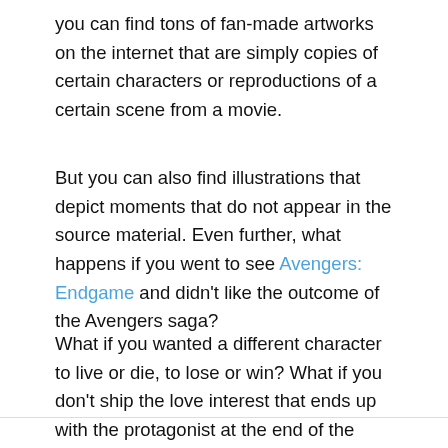you can find tons of fan-made artworks on the internet that are simply copies of certain characters or reproductions of a certain scene from a movie.
But you can also find illustrations that depict moments that do not appear in the source material. Even further, what happens if you went to see Avengers: Endgame and didn't like the outcome of the Avengers saga?
What if you wanted a different character to live or die, to lose or win? What if you don't ship the love interest that ends up with the protagonist at the end of the story?